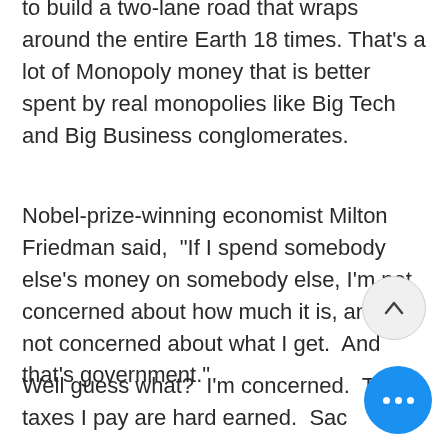to build a two-lane road that wraps around the entire Earth 18 times. That's a lot of Monopoly money that is better spent by real monopolies like Big Tech and Big Business conglomerates.
Nobel-prize-winning economist Milton Friedman said,  "If I spend somebody else's money on somebody else, I'm not concerned about how much it is, and I'm not concerned about what I get.  And that's government."
Well guess what?  I'm concerned.  The taxes I pay are hard earned.  Sac— even.  So what's the average pe— to do?  There's only one way to truly